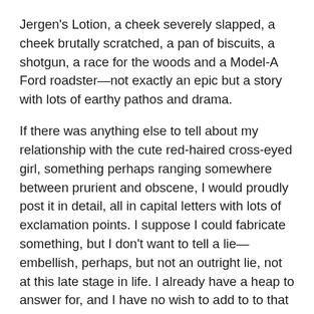Jergen's Lotion, a cheek severely slapped, a cheek brutally scratched, a pan of biscuits, a shotgun, a race for the woods and a Model-A Ford roadster—not exactly an epic but a story with lots of earthy pathos and drama.
If there was anything else to tell about my relationship with the cute red-haired cross-eyed girl, something perhaps ranging somewhere between prurient and obscene, I would proudly post it in detail, all in capital letters with lots of exclamation points. I suppose I could fabricate something, but I don't want to tell a lie—embellish, perhaps, but not an outright lie, not at this late stage in life. I already have a heap to answer for, and I have no wish to add to to that heap.
Nope, nothing happened, not even in the hayloft, and I'll close with a quote from the words of John Greenleaf